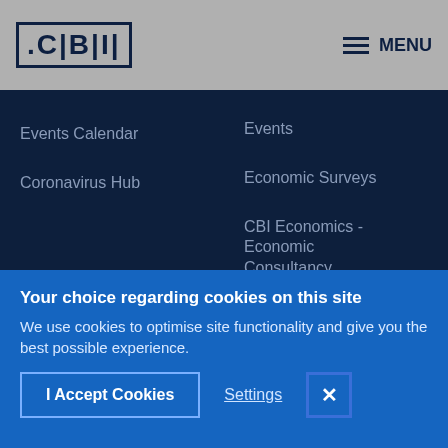CBI | MENU
Events Calendar
Coronavirus Hub
Events
Economic Surveys
CBI Economics - Economic Consultancy
CBI @10am
Coronavirus Hub
Your choice regarding cookies on this site
We use cookies to optimise site functionality and give you the best possible experience.
I Accept Cookies
Settings